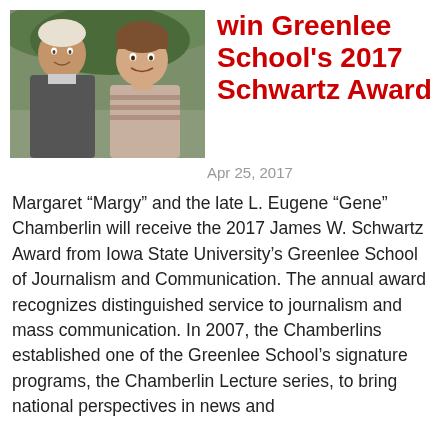[Figure (photo): Two people posing together outdoors, appearing to be an older man and a younger woman or child, in front of green foliage.]
win Greenlee School's 2017 Schwartz Award
Apr 25, 2017
Margaret “Margy” and the late L. Eugene “Gene” Chamberlin will receive the 2017 James W. Schwartz Award from Iowa State University’s Greenlee School of Journalism and Communication. The annual award recognizes distinguished service to journalism and mass communication. In 2007, the Chamberlins established one of the Greenlee School’s signature programs, the Chamberlin Lecture series, to bring national perspectives in news and